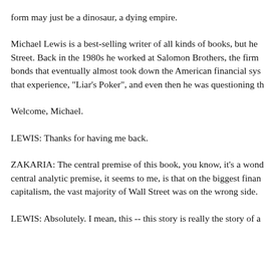form may just be a dinosaur, a dying empire.
Michael Lewis is a best-selling writer of all kinds of books, but he Street. Back in the 1980s he worked at Salomon Brothers, the firm bonds that eventually almost took down the American financial sys that experience, "Liar's Poker", and even then he was questioning th
Welcome, Michael.
LEWIS: Thanks for having me back.
ZAKARIA: The central premise of this book, you know, it's a wond central analytic premise, it seems to me, is that on the biggest finan capitalism, the vast majority of Wall Street was on the wrong side.
LEWIS: Absolutely. I mean, this -- this story is really the story of a